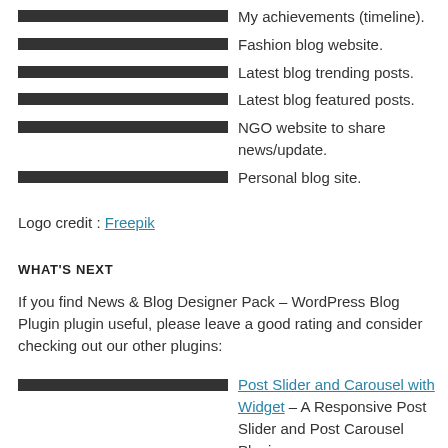My achievements (timeline).
Fashion blog website.
Latest blog trending posts.
Latest blog featured posts.
NGO website to share news/update.
Personal blog site.
Logo credit : Freepik
WHAT'S NEXT
If you find News & Blog Designer Pack – WordPress Blog Plugin plugin useful, please leave a good rating and consider checking out our other plugins:
Post Slider and Carousel with Widget – A Responsive Post Slider and Post Carousel Plugin
Logo Showcase with Slick Slider – Logo Carousel, Logo Slider & Logo Grid Plugin
Posts List Designer by Category – Display Posts